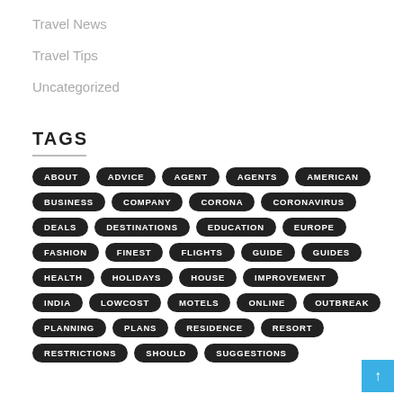Travel News
Travel Tips
Uncategorized
TAGS
ABOUT ADVICE AGENT AGENTS AMERICAN BUSINESS COMPANY CORONA CORONAVIRUS DEALS DESTINATIONS EDUCATION EUROPE FASHION FINEST FLIGHTS GUIDE GUIDES HEALTH HOLIDAYS HOUSE IMPROVEMENT INDIA LOWCOST MOTELS ONLINE OUTBREAK PLANNING PLANS RESIDENCE RESORT RESTRICTIONS SHOULD SUGGESTIONS